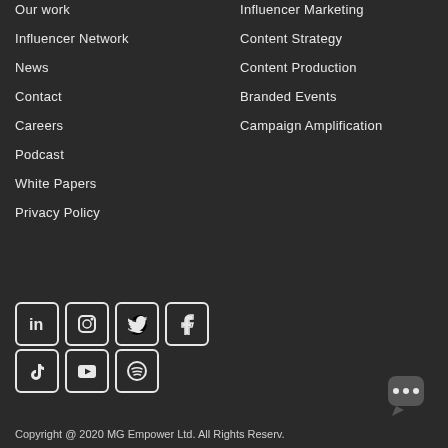Our work
Influencer Network
News
Contact
Careers
Podcast
White Papers
Privacy Policy
Influencer Marketing
Content Strategy
Content Production
Branded Events
Campaign Amplification
[Figure (other): Social media icons: LinkedIn, Instagram, Twitter, Facebook (top row); TikTok, YouTube, Spotify (bottom row)]
[Figure (other): Chat bubble icon in bottom right corner]
Copyright @ 2020 MG Empower Ltd. All Rights Reserv.